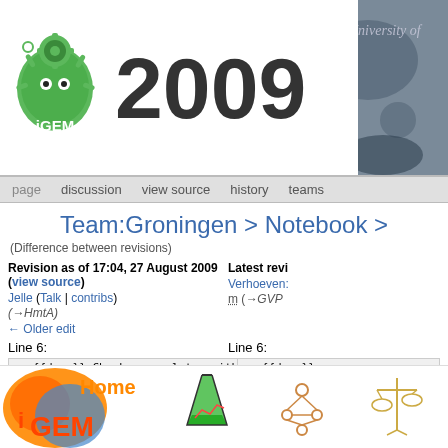iGEM Groningen 2009
Team:Groningen > Notebook >
(Difference between revisions)
Revision as of 17:04, 27 August 2009 (view source)
Jelle (Talk | contribs)
(→HmtA)
← Older edit
Latest revision... Verhoeven... m (→GVP
Line 6:
| diff |
| --- |
| :→ {{done}} Check o.n. plates with transformed E.coli TOP10 cells | :→ {{done}} |
| - :→ {{todo}} Use colonies to grow o.n. precultures for plasmid isolation | + :→ {{done}} |
| :→ {{todo}} Test promoter strenght compared to BBa_J23101 promoter (Sven) | :→ {{todo}} |
Latest revision as of 07:23, 28 August 2009